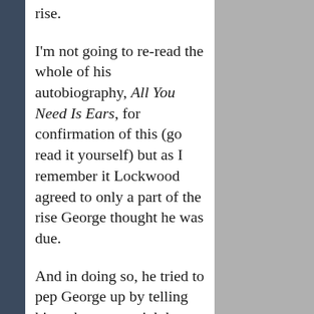rise.
I'm not going to re-read the whole of his autobiography, All You Need Is Ears, for confirmation of this (go read it yourself) but as I remember it Lockwood agreed to only a part of the rise George thought he was due.
And in doing so, he tried to pep George up by telling him what a great job he was doing.